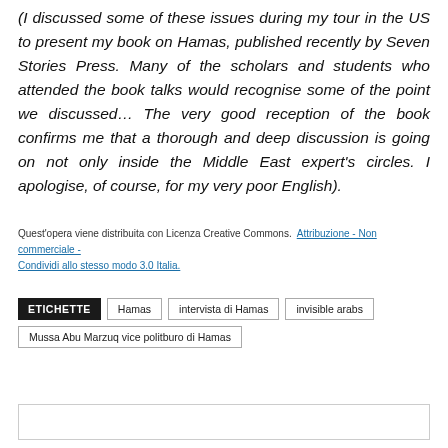(I discussed some of these issues during my tour in the US to present my book on Hamas, published recently by Seven Stories Press. Many of the scholars and students who attended the book talks would recognise some of the point we discussed… The very good reception of the book confirms me that a thorough and deep discussion is going on not only inside the Middle East expert's circles. I apologise, of course, for my very poor English).
Quest'opera viene distribuita con Licenza Creative Commons. Attribuzione - Non commerciale - Condividi allo stesso modo 3.0 Italia.
ETICHETTE | Hamas | intervista di Hamas | invisible arabs | Mussa Abu Marzuq vice politburo di Hamas